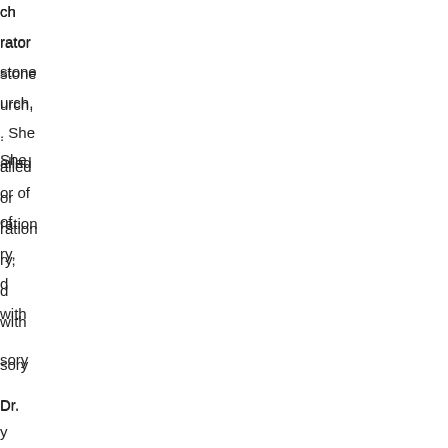ch
rator
stone
urch,
. She
alled
or of
rationy,
d
with

sory

Dr.
rned
al
rom
duate
cal
ion of

y /